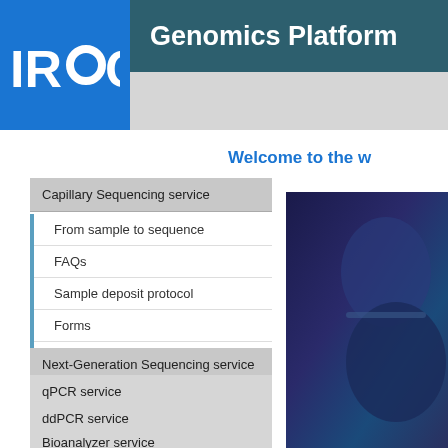Genomics Platform
[Figure (logo): IRIC logo — white letters I, R, I, C with stylized circular O on blue background]
Welcome to the w
Capillary Sequencing service
From sample to sequence
FAQs
Sample deposit protocol
Forms
Place a New Request
Next-Generation Sequencing service
qPCR service
ddPCR service
Bioanalyzer service
Useful Links
[Figure (photo): Partial photo of laboratory equipment or person, dark blue tones]